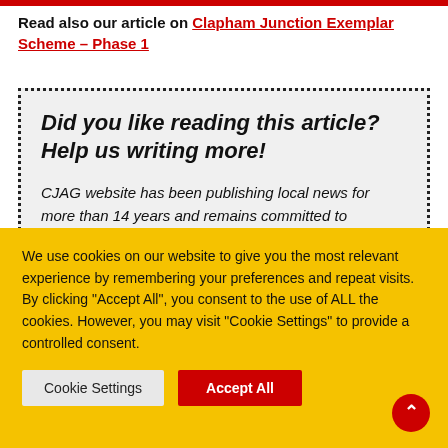Read also our article on Clapham Junction Exemplar Scheme – Phase 1
Did you like reading this article? Help us writing more!

CJAG website has been publishing local news for more than 14 years and remains committed to providing local community information and publi...
We use cookies on our website to give you the most relevant experience by remembering your preferences and repeat visits. By clicking "Accept All", you consent to the use of ALL the cookies. However, you may visit "Cookie Settings" to provide a controlled consent.